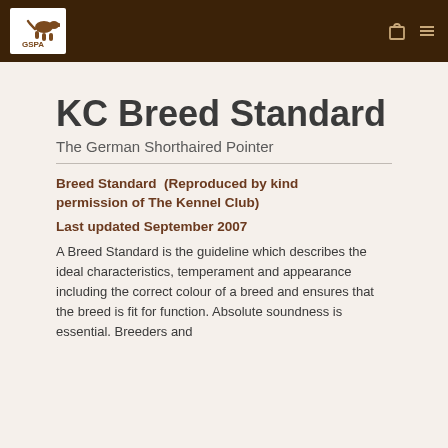GSPA
KC Breed Standard
The German Shorthaired Pointer
Breed Standard  (Reproduced by kind permission of The Kennel Club)
Last updated September 2007
A Breed Standard is the guideline which describes the ideal characteristics, temperament and appearance including the correct colour of a breed and ensures that the breed is fit for function. Absolute soundness is essential. Breeders and